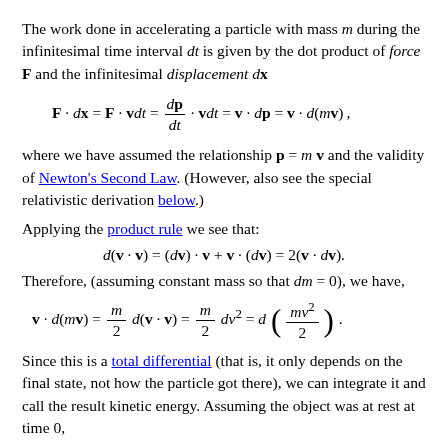The work done in accelerating a particle with mass m during the infinitesimal time interval dt is given by the dot product of force F and the infinitesimal displacement dx
where we have assumed the relationship p = m v and the validity of Newton's Second Law. (However, also see the special relativistic derivation below.)
Applying the product rule we see that:
Therefore, (assuming constant mass so that dm = 0), we have,
Since this is a total differential (that is, it only depends on the final state, not how the particle got there), we can integrate it and call the result kinetic energy. Assuming the object was at rest at time 0,